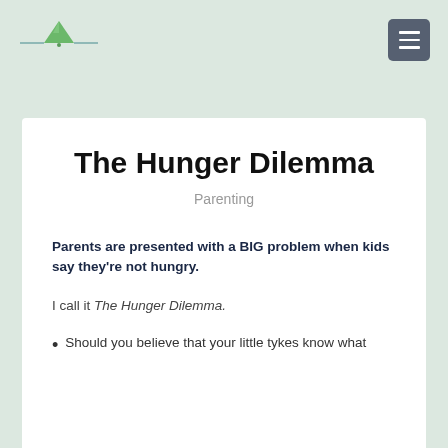[Figure (logo): Green triangle mountain logo with horizontal lines on either side]
The Hunger Dilemma
Parenting
Parents are presented with a BIG problem when kids say they’re not hungry.
I call it The Hunger Dilemma.
Should you believe that your little tykes know what